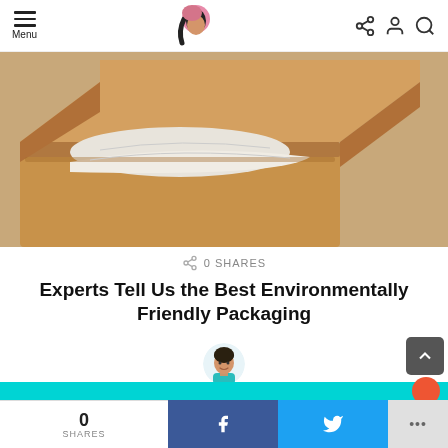Menu [logo] [share] [account] [search]
[Figure (photo): Open cardboard shipping box with white tissue paper inside, on a tan/beige background]
0 SHARES
Experts Tell Us the Best Environmentally Friendly Packaging
[Figure (illustration): Cartoon avatar of a man with short dark hair]
BY ALTE FRIEDMAN
3 DAYS AGO